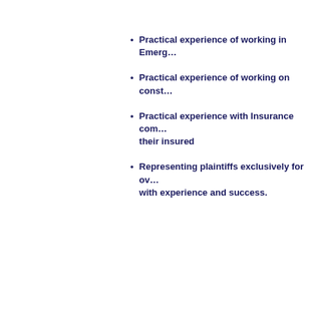Practical experience of working in Emerg…
Practical experience of working on const…
Practical experience with Insurance com… their insured
Representing plaintiffs exclusively for ov… with experience and success.